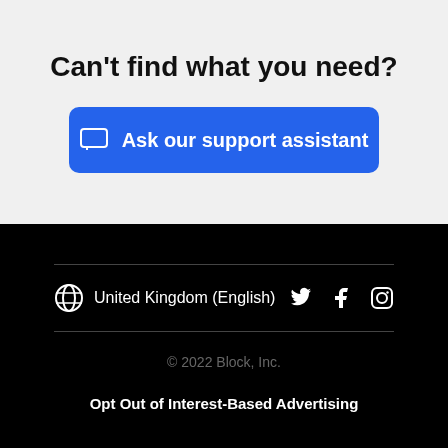Can't find what you need?
Ask our support assistant
United Kingdom (English)
© 2022 Block, Inc.
Opt Out of Interest-Based Advertising